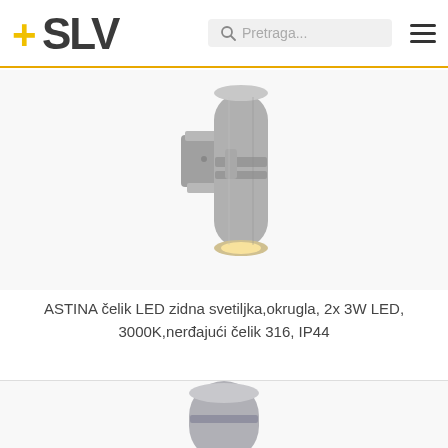[Figure (logo): SLV brand logo with yellow plus sign and dark grey SLV text]
[Figure (photo): ASTINA stainless steel round LED wall lamp with cylindrical body and warm white light, mounted on wall bracket]
ASTINA čelik LED zidna svetiljka,okrugla, 2x 3W LED, 3000K,nerđajući čelik 316, IP44
[Figure (photo): Second product partially visible at the bottom — round outdoor LED lamp, partially cropped]